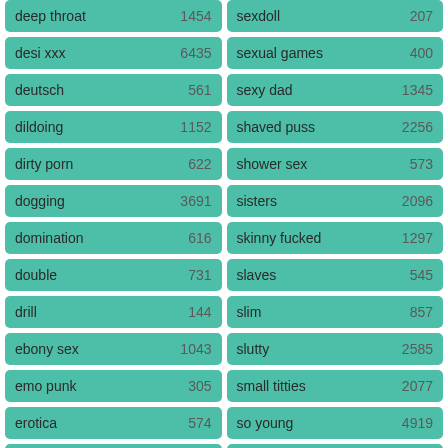deep throat  1454
sexdoll  207
desi xxx  6435
sexual games  400
deutsch  561
sexy dad  1345
dildoing  1152
shaved puss  2256
dirty porn  622
shower sex  573
dogging  3691
sisters  2096
domination  616
skinny fucked  1297
double  731
slaves  545
drill  144
slim  857
ebony sex  1043
slutty  2585
emo punk  305
small titties  2077
erotica  574
so young  4919
europe  1597
softcore  165
extreme  761
solo xxx  835